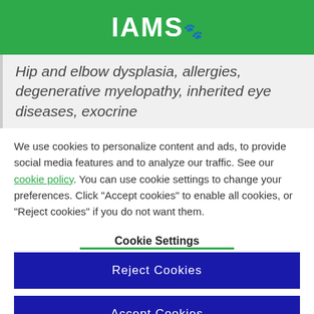IAMS
Hip and elbow dysplasia, allergies, degenerative myelopathy, inherited eye diseases, exocrine
We use cookies to personalize content and ads, to provide social media features and to analyze our traffic. See our cookie policy. You can use cookie settings to change your preferences. Click "Accept cookies" to enable all cookies, or "Reject cookies" if you do not want them.
Cookie Settings
Reject Cookies
Accept Cookies